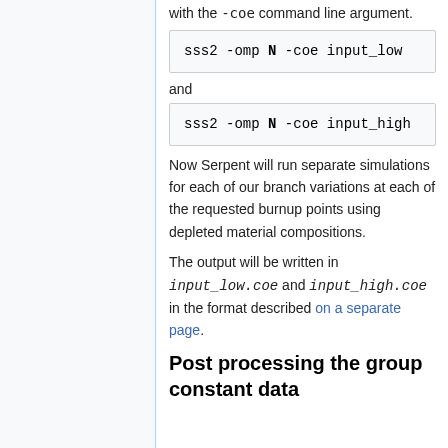with the -coe command line argument.
sss2 -omp N -coe input_low
and
sss2 -omp N -coe input_high
Now Serpent will run separate simulations for each of our branch variations at each of the requested burnup points using depleted material compositions.
The output will be written in input_low.coe and input_high.coe in the format described on a separate page.
Post processing the group constant data